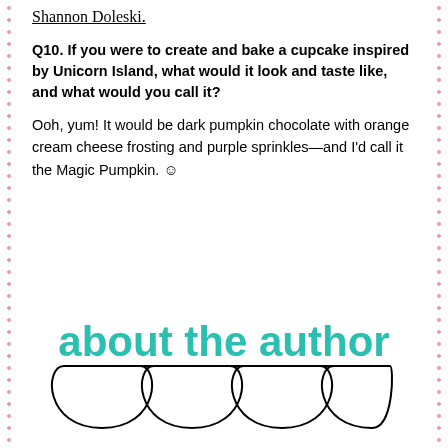Shannon Doleski.
Q10. If you were to create and bake a cupcake inspired by Unicorn Island, what would it look and taste like, and what would you call it?
Ooh, yum! It would be dark pumpkin chocolate with orange cream cheese frosting and purple sprinkles—and I'd call it the Magic Pumpkin. 😊
[Figure (illustration): Decorative 'about the author' text in teal/turquoise bold font, with a decorative line underneath featuring four loops/circles in a linked chain pattern drawn in black.]